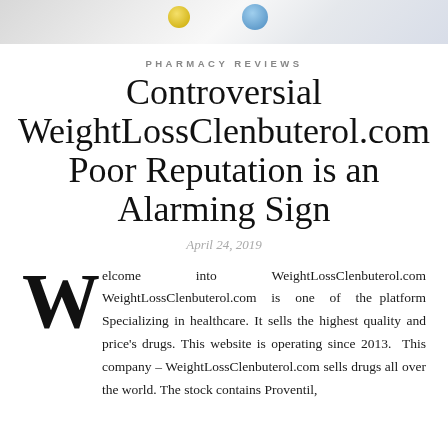[Figure (photo): Top banner image showing pills/medications — yellow and blue pills visible on light background]
PHARMACY REVIEWS
Controversial WeightLossClenbuterol.com Poor Reputation is an Alarming Sign
April 24, 2019
Welcome into WeightLossClenbuterol.com WeightLossClenbuterol.com is one of the platform Specializing in healthcare. It sells the highest quality and price's drugs. This website is operating since 2013. This company – WeightLossClenbuterol.com sells drugs all over the world. The stock contains Proventil,